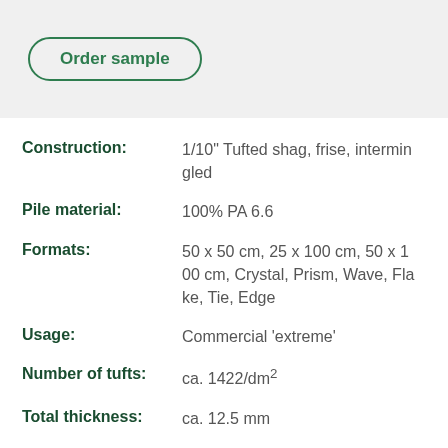Order sample
| Property | Value |
| --- | --- |
| Construction: | 1/10" Tufted shag, frise, intermingled |
| Pile material: | 100% PA 6.6 |
| Formats: | 50 x 50 cm, 25 x 100 cm, 50 x 100 cm, Crystal, Prism, Wave, Flake, Tie, Edge |
| Usage: | Commercial 'extreme' |
| Number of tufts: | ca. 1422/dm² |
| Total thickness: | ca. 12.5 mm |
| Pile weight: | ca. 1260 g/m² |